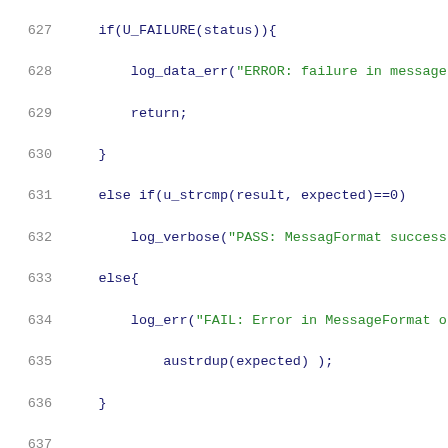[Figure (screenshot): Source code screenshot showing C code lines 627-648, with line numbers on the left, code in dark blue/monospace font, string literals in green, and a comment in red/orange.]